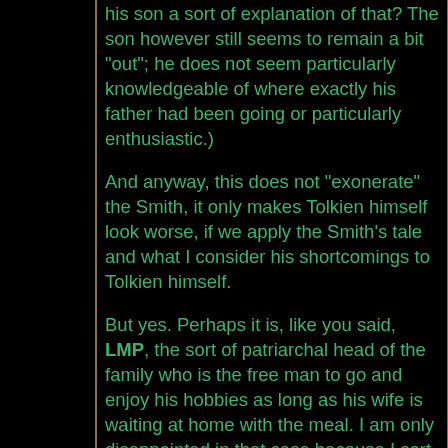his son a sort of explanation of that? The son however still seems to remain a bit "out"; he does not seem particularly knowledgeable of where exactly his father had been going or particularly enthusiastic.)
And anyway, this does not "exonerate" the Smith, it only makes Tolkien himself look worse, if we apply the Smith's tale and what I consider his shortcomings to Tolkien himself.
But yes. Perhaps it is, like you said, LMP, the sort of patriarchal head of the family who is the free man to go and enjoy his hobbies as long as his wife is waiting at home with the meal. I am only disappointed in that case because I sort of expected more.
This is actually related to another thing I would like to